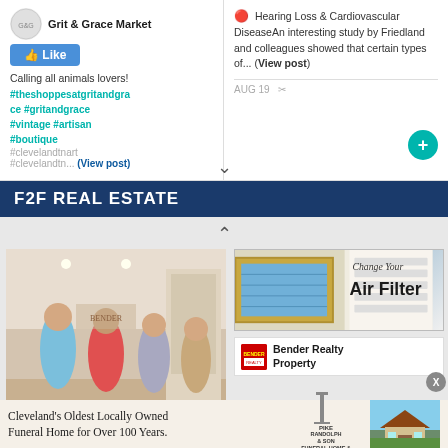Grit & Grace Market
Calling all animals lovers! #theshoppesatgritandgrace #gritandgrace #vintage #artisan #boutique #clevelandtnart #clevelandtn... (View post)
🔴 Hearing Loss & Cardiovascular DiseaseAn interesting study by Friedland and colleagues showed that certain types of... (View post)
AUG 19
F2F REAL ESTATE
[Figure (photo): Group of four people standing in an interior room]
[Figure (infographic): Change Your Air Filter advertisement with an air filter image]
Bender Realty Property
Cleveland's Oldest Locally Owned Funeral Home for Over 100 Years.
[Figure (logo): Pike Randolph & Son Funeral Home & Cremation Services logo]
[Figure (photo): House exterior photo]